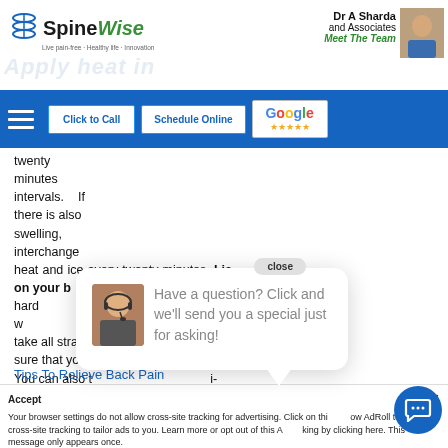SpineWise — Dr A Sharda and Associates — Meet The Team
[Figure (screenshot): SpineWise logo with navigation bar containing Click to Call, Schedule Online buttons and Google rating widget]
twenty minutes intervals. If there is also swelling, interchange heat and ice every twenty minutes. Lie on your back on a hard surface, with a pillow slightly beneath it to take all strain. Make sure that you watch your movements. You can also take anti-inflammatory medications.
[Figure (screenshot): Chat popup with avatar and message: Have a question? Click and we'll send you a special just for asking! with close button]
Tips To Relieve Back Pain
Your browser settings do not allow cross-site tracking for advertising. Click on this to allow AdRoll to use cross-site tracking to tailor ads to you. Learn more or opt out of this AdRoll tracking by clicking here. This message only appears once.